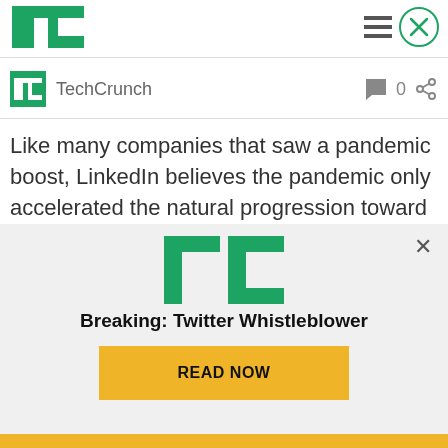[Figure (logo): TechCrunch TC logo in green at top left of header]
[Figure (logo): Hamburger menu icon]
[Figure (logo): Close/X button circle icon]
[Figure (logo): TechCrunch TC small green icon next to author name]
TechCrunch
0
Like many companies that saw a pandemic boost, LinkedIn believes the pandemic only accelerated the natural progression toward online networking, remote work and virtual events, which were already
[Figure (logo): TechCrunch TC logo in green inside advertisement overlay]
Breaking: Twitter Whistleblower
READ NOW